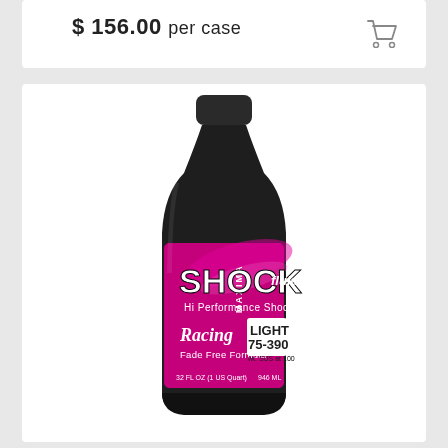$ 156.00 per case
[Figure (photo): A black bottle of Maxima Racing Shock Fluid, Hi Performance Shock Fluid, Light 75-390, Fade Free Formula, 32 fl oz (1 US Quart) 946mL, with a pink and black label.]